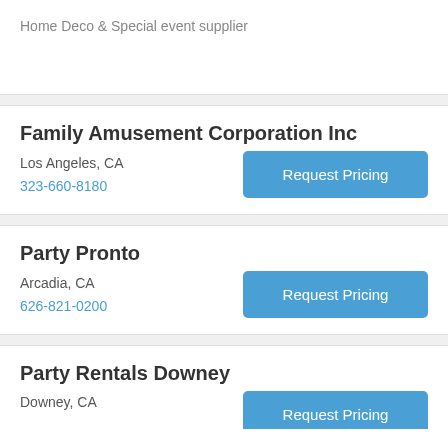Home Deco & Special event supplier
Family Amusement Corporation Inc
Los Angeles, CA
323-660-8180
Party Pronto
Arcadia, CA
626-821-0200
Party Rentals Downey
Downey, CA